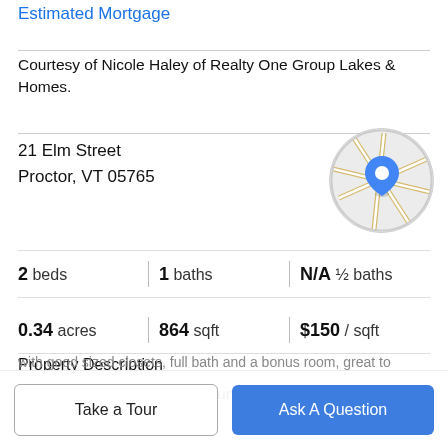Estimated Mortgage
Courtesy of Nicole Haley of Realty One Group Lakes & Homes.
21 Elm Street
Proctor, VT 05765
[Figure (map): Circular map thumbnail showing Proctor VT area with a blue location pin]
2 beds | 1 baths | N/A ½ baths
0.34 acres | 864 sqft | $150 / sqft
Property Description
Newly renovated 2-bedroom unit in Proctor Vermont.
with good sized closets, full bath and a bonus room, great to